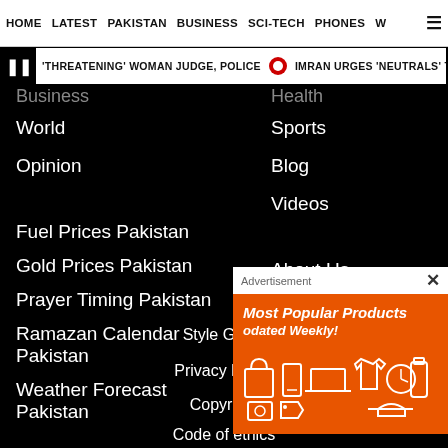HOME | LATEST | PAKISTAN | BUSINESS | SCI-TECH | PHONES | W ☰
❚ 'THREATENING' WOMAN JUDGE, POLICE 🔴 IMRAN URGES 'NEUTRALS' TO STAND W
Business
World
Opinion
Health
Sports
Blog
Videos
Fuel Prices Pakistan
Gold Prices Pakistan
Prayer Timing Pakistan
Ramazan Calendar Pakistan
Weather Forecast Pakistan
About Us
Online Advertising
[Figure (illustration): Advertisement popup: orange background with shopping/tech product icons, title 'Most Popular Products Updated Weekly!']
Style Guide
Privacy Policy
Copyright
Code of ethics